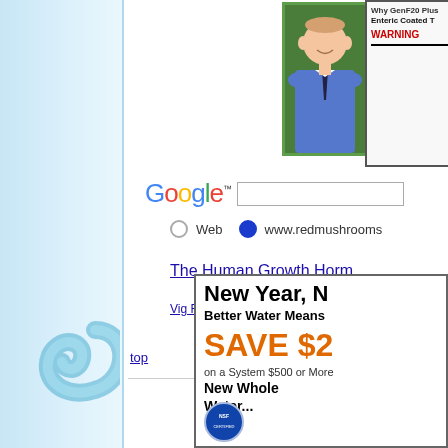[Figure (screenshot): Left sidebar with blue gradient background and decorative swirl logo]
[Figure (photo): Top-right advertisement showing a man in blue shirt with GenF20 Plus Enteric Coated text and WARNING label]
[Figure (screenshot): Google search bar with Google logo and search input field]
Web   www.redmushrooms
The Human Growth Horm
Vig RX Plus™ |  VigRX Plus™ Ingredients | Erectile Dysfunction
top
[Figure (screenshot): Bottom right advertisement: New Year, N... Better Water Means... SAVE $2... on a System $500 or More, New Whole Water...]